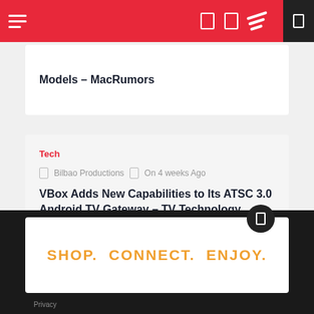MacRumors navigation bar
Models – MacRumors
Tech
Bilbao Productions  On 4 weeks Ago
VBox Adds New Capabilities to Its ATSC 3.0 Android TV Gateway – TV Technology
[Figure (screenshot): Advertisement banner with text: SHOP. CONNECT. ENJOY.]
Privacy